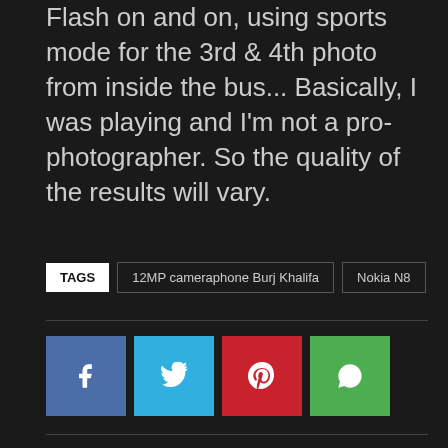Flash on and on, using sports mode for the 3rd & 4th photo from inside the bus... Basically, I was playing and I'm not a pro-photographer. So the quality of the results will vary.
TAGS  12MP cameraphone Burj Khalifa  Nokia N8
[Figure (infographic): Four social sharing buttons: Facebook (blue), Twitter (light blue), Pinterest (red), WhatsApp (green), each showing respective icons]
Previous article
Model of Burj Khalifa, the world's tallest building is
Next article
SHEGROOVEE DUO UNIT– THE DIHANN MOORE DUO